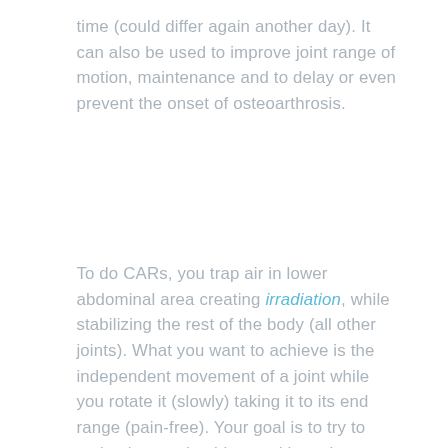time (could differ again another day). It can also be used to improve joint range of motion, maintenance and to delay or even prevent the onset of osteoarthrosis.
To do CARs, you trap air in lower abdominal area creating irradiation, while stabilizing the rest of the body (all other joints). What you want to achieve is the independent movement of a joint while you rotate it (slowly) taking it to its end range (pain-free). Your goal is to try to make the rotation bigger with each rep or to "expand the circle" as they say.